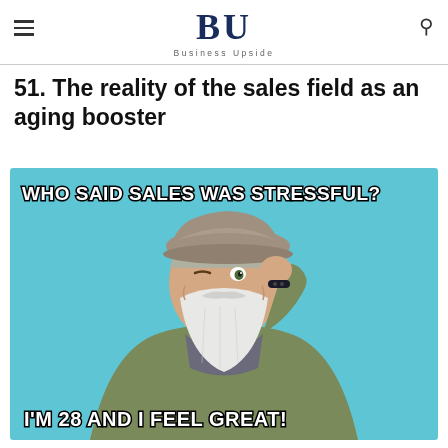BU — Business Upside
51. The reality of the sales field as an aging booster
[Figure (photo): Meme image of a cheerful elderly man with a white beard wearing a flat cap and olive jacket, tipping his hat against a light blue background. Top text reads 'WHO SAID SALES WAS STRESSFUL?' and bottom text reads 'I'M 28 AND I FEEL GREAT!']